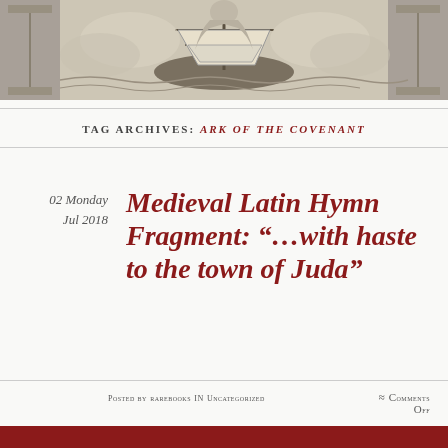[Figure (illustration): Engraving or woodcut illustration of a sailing ship with decorative architectural framing elements, in monochrome/grayscale, used as a blog header image.]
TAG ARCHIVES: ARK OF THE COVENANT
02 Monday Jul 2018
Medieval Latin Hymn Fragment: “…with haste to the town of Juda”
Posted by rarebooks in Uncategorized ≈ Comments Off